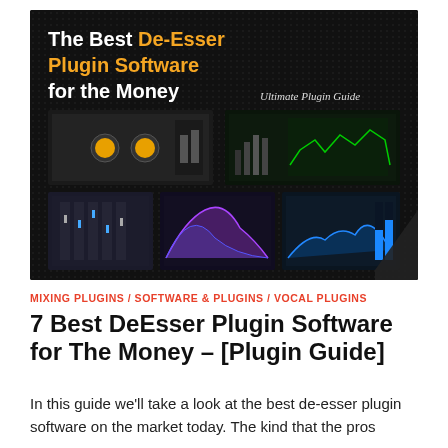[Figure (screenshot): Hero banner image with dark/black background showing title 'The Best De-Esser Plugin Software for the Money' with 'Ultimate Plugin Guide' subtitle, and a collage of 5 audio plugin interface screenshots arranged in a 2+3 grid]
MIXING PLUGINS / SOFTWARE & PLUGINS / VOCAL PLUGINS
7 Best DeEsser Plugin Software for The Money – [Plugin Guide]
In this guide we'll take a look at the best de-esser plugin software on the market today. The kind that the pros